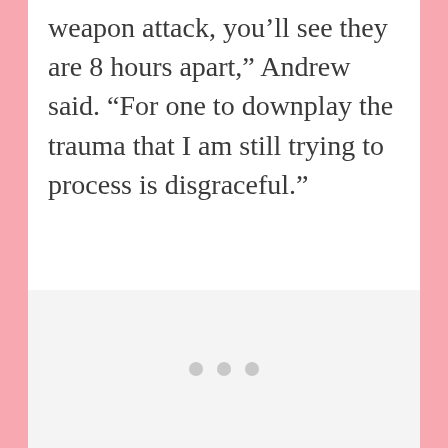weapon attack, you’ll see they are 8 hours apart,” Andrew said. “For one to downplay the trauma that I am still trying to process is disgraceful.”
[Figure (other): A large light-gray placeholder image block with three small gray dots centered in it, indicating a loading or missing image state.]